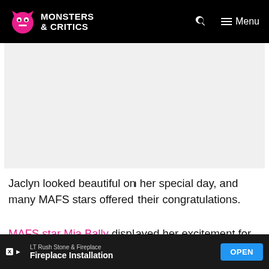Monsters & Critics
[Figure (other): Advertisement placeholder / image area (gray box)]
Jaclyn looked beautiful on her special day, and many MAFS stars offered their congratulations.
MAFS star Mia Bally displayed her excitement for her fellow castmember with a photoshopped photo of her and the new couple.
Sign up for our newsletter!
[Figure (other): Bottom advertisement bar: LT Rush Stone & Fireplace — Fireplace Installation — OPEN button]